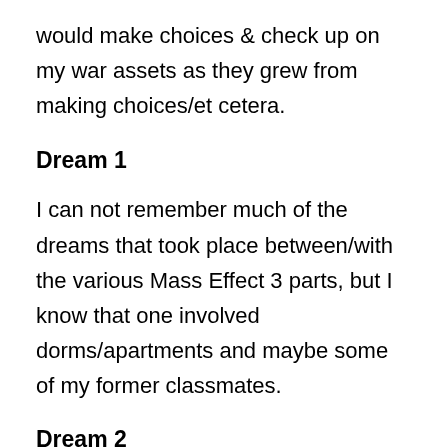would make choices & check up on my war assets as they grew from making choices/et cetera.
Dream 1
I can not remember much of the dreams that took place between/with the various Mass Effect 3 parts, but I know that one involved dorms/apartments and maybe some of my former classmates.
Dream 2
One of the dreams involved me going to a